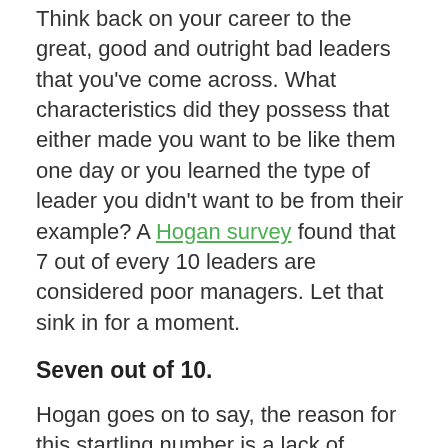Think back on your career to the great, good and outright bad leaders that you've come across. What characteristics did they possess that either made you want to be like them one day or you learned the type of leader you didn't want to be from their example? A Hogan survey found that 7 out of every 10 leaders are considered poor managers. Let that sink in for a moment.
Seven out of 10.
Hogan goes on to say, the reason for this startling number is a lack of judgement, inability to gain and keep trust, inability to relate to others and inability to learn and grow from mistakes. That means that for